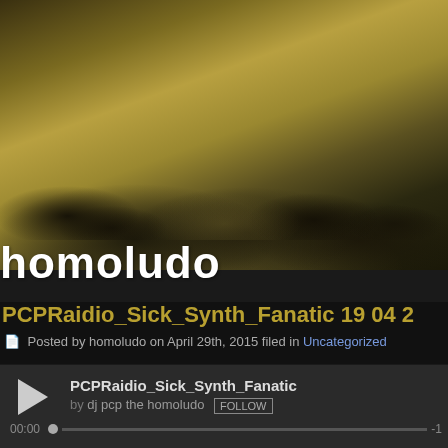[Figure (photo): Sepia-toned landscape banner with dark stormy clouds against a golden-brown sky background]
homoludo
spiel macht frei
hom
PCPRaidio_Sick_Synth_Fanatic 19 04 2
Posted by homoludo on April 29th, 2015 filed in Uncategorized
PCPRaidio_Sick_Synth_Fanatic
by dj pcp the homoludo FOLLOW
00:00 -1